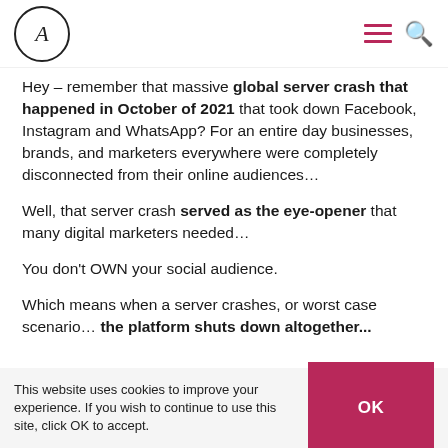A (logo) | menu | search
Hey – remember that massive global server crash that happened in October of 2021 that took down Facebook, Instagram and WhatsApp? For an entire day businesses, brands, and marketers everywhere were completely disconnected from their online audiences…
Well, that server crash served as the eye-opener that many digital marketers needed…
You don't OWN your social audience.
Which means when a server crashes, or worst case scenario… the platform shuts down altogether...
This website uses cookies to improve your experience. If you wish to continue to use this site, click OK to accept.